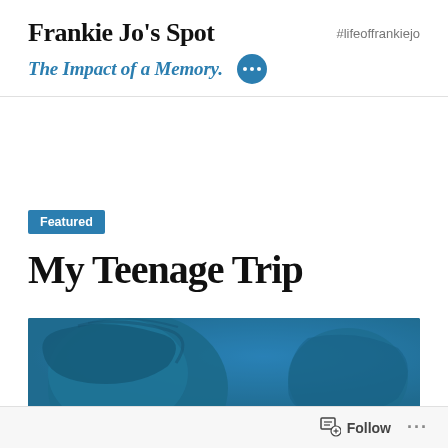Frankie Jo's Spot   #lifeoffrankiejo
The Impact of a Memory.
Featured
My Teenage Trip
[Figure (photo): Blue-tinted photo of a young person, head tilted back, with a teal/blue color overlay covering the image]
Follow   ...